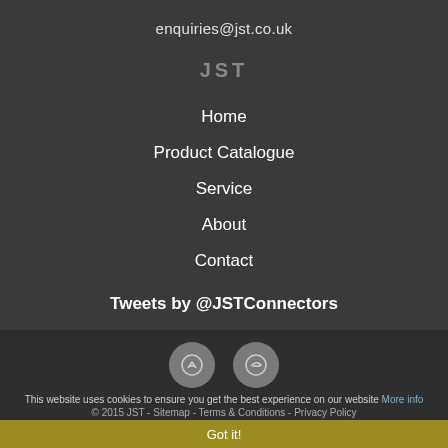enquiries@jst.co.uk
JST
Home
Product Catalogue
Service
About
Contact
Tweets by @JSTConnectors
[Figure (other): Two circular icon buttons with dark background]
This website uses cookies to ensure you get the best experience on our website More info
© 2015 JST - Sitemap - Terms & Conditions - Privacy Policy
Got it!